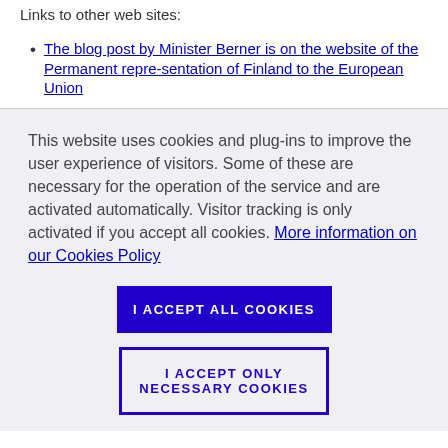Links to other web sites:
The blog post by Minister Berner is on the website of the Permanent repre-sentation of Finland to the European Union
This website uses cookies and plug-ins to improve the user experience of visitors. Some of these are necessary for the operation of the service and are activated automatically. Visitor tracking is only activated if you accept all cookies. More information on our Cookies Policy
I ACCEPT ALL COOKIES
I ACCEPT ONLY NECESSARY COOKIES